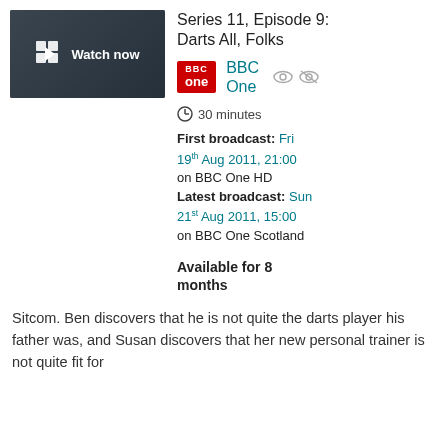[Figure (screenshot): Video thumbnail showing 'Watch now' with play icon on a dark background with people in the background]
Series 11, Episode 9: Darts All, Folks
[Figure (logo): BBC One red logo block]
BBC One
30 minutes
First broadcast: Fri 19th Aug 2011, 21:00 on BBC One HD
Latest broadcast: Sun 21st Aug 2011, 15:00 on BBC One Scotland
Available for 8 months
Sitcom. Ben discovers that he is not quite the darts player his father was, and Susan discovers that her new personal trainer is not quite fit for